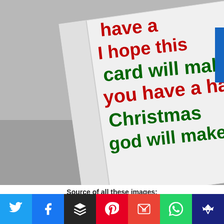[Figure (photo): Close-up photo of a handwritten Christmas card with red and green marker text reading: 'have a... I hope this card will make you have a happy Christmas god will make you!' The card is propped at an angle on a gray surface.]
Source of all these images:
The Christmas Card Collective
In 2017, Erin Schulte hoped to collect 225 cards from kind strangers to give to the homeless on Christmas.
[Figure (infographic): Social media sharing bar with buttons for Twitter (blue), Facebook (blue), Buffer (black), Pinterest (red), Gmail (red), WhatsApp (green), and a crown/premium icon (dark blue).]